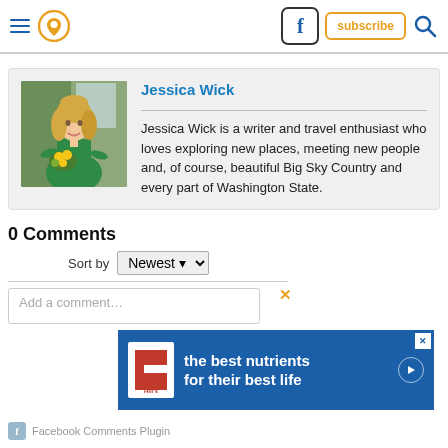Navigation header with hamburger menu, location icon, Facebook button, subscribe button, search icon
[Figure (photo): Author photo of Jessica Wick, a woman with blonde hair wearing a green dress, holding yellow flowers, standing indoors]
Jessica Wick
Jessica Wick is a writer and travel enthusiast who loves exploring new places, meeting new people and, of course, beautiful Big Sky Country and every part of Washington State.
0 Comments
Sort by Newest
[Figure (screenshot): Hill's Pet Nutrition advertisement banner with text 'the best nutrients for their best life']
Facebook Comments Plugin